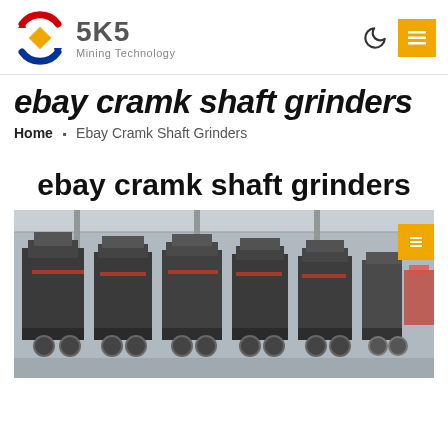SKS Mining Technology
ebay cramk shaft grinders
Home › Ebay Cramk Shaft Grinders
ebay cramk shaft grinders
[Figure (photo): Industrial mining/grinding machines in a factory setting — large dark metal cylindrical grinders lined up in a row inside an industrial warehouse.]